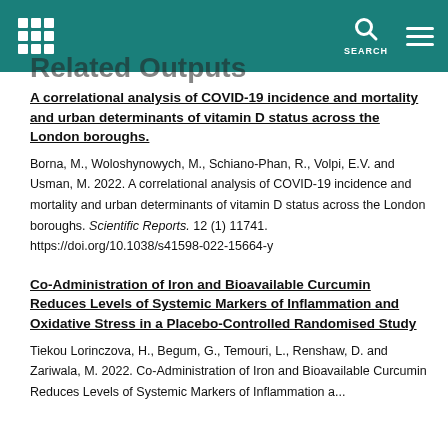Related Outputs
A correlational analysis of COVID-19 incidence and mortality and urban determinants of vitamin D status across the London boroughs.
Borna, M., Woloshynowych, M., Schiano-Phan, R., Volpi, E.V. and Usman, M. 2022. A correlational analysis of COVID-19 incidence and mortality and urban determinants of vitamin D status across the London boroughs. Scientific Reports. 12 (1) 11741. https://doi.org/10.1038/s41598-022-15664-y
Co-Administration of Iron and Bioavailable Curcumin Reduces Levels of Systemic Markers of Inflammation and Oxidative Stress in a Placebo-Controlled Randomised Study
Tiekou Lorinczova, H., Begum, G., Temouri, L., Renshaw, D. and Zariwala, M. 2022. Co-Administration of Iron and Bioavailable Curcumin Reduces Levels of Systemic Markers of Inflammation and...